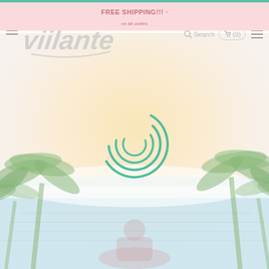FREE SHIPPING!!! · promotional banner
[Figure (logo): Viilante brand logo in gray italic script with decorative swoosh]
[Figure (screenshot): E-commerce navigation bar with hamburger menu, Viilante logo, search bar, cart (0), and right hamburger menu]
[Figure (illustration): Loading spinner animation (teal concentric arcs) over a tropical beach background illustration with palm trees, sky, and ocean scene]